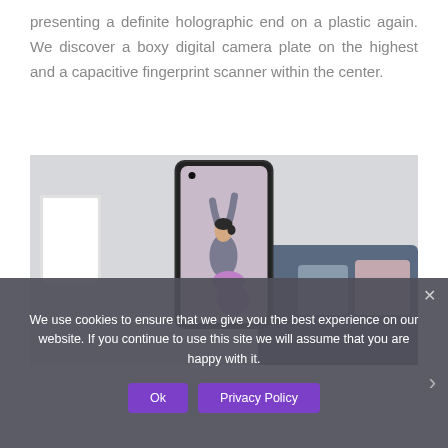presenting a definite holographic end on a plastic again. We discover a boxy digital camera plate on the highest and a capacitive fingerprint scanner within the center.
[Figure (photo): A woman doing a yoga pose (cobra/backbend) shown through a smartphone screen, with a white brick wall background, a white picture frame on the left, and a blue sofa with cushions on the right.]
We use cookies to ensure that we give you the best experience on our website. If you continue to use this site we will assume that you are happy with it.